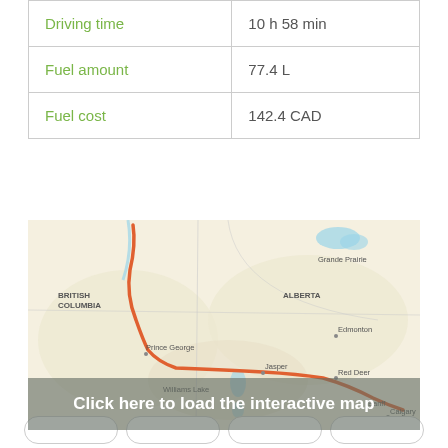|  |  |
| --- | --- |
| Driving time | 10 h 58 min |
| Fuel amount | 77.4 L |
| Fuel cost | 142.4 CAD |
[Figure (map): A road map showing a route from British Columbia through Prince George, past Jasper, and ending near Banff/Calgary in Alberta, Canada. The route is highlighted in orange-red. Labels include British Columbia, Alberta, Grande Prairie, Edmonton, Prince George, Jasper, Williams Lake, Red Deer, Banff, Calgary, Kamloops. There is a blue overlay button saying 'Click here to load the interactive map'.]